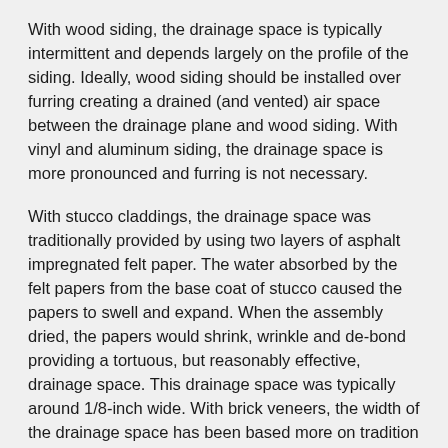With wood siding, the drainage space is typically intermittent and depends largely on the profile of the siding. Ideally, wood siding should be installed over furring creating a drained (and vented) air space between the drainage plane and wood siding. With vinyl and aluminum siding, the drainage space is more pronounced and furring is not necessary.
With stucco claddings, the drainage space was traditionally provided by using two layers of asphalt impregnated felt paper. The water absorbed by the felt papers from the base coat of stucco caused the papers to swell and expand. When the assembly dried, the papers would shrink, wrinkle and de-bond providing a tortuous, but reasonably effective, drainage space. This drainage space was typically around 1/8-inch wide. With brick veneers, the width of the drainage space has been based more on tradition rather than physics. A 1-inch airspace is more-or-less the width of a mason's fingers. It is important that this 1-inch airspace is coupled with a functional drainage plane.